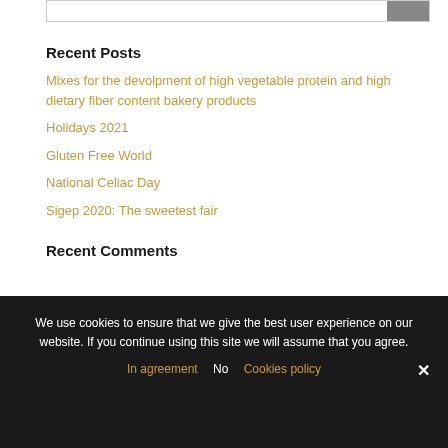Recent Posts
Mixes for the devolpment of high vegetable protein and high dietary fiber content bakery products
Holidays 2021
Gluten Free World
National Celiac Day
Sigep 2020: The sweetest fair
Recent Comments
We use cookies to ensure that we give the best user experience on our website. If you continue using this site we will assume that you agree.
In agreement   No   Cookies policy